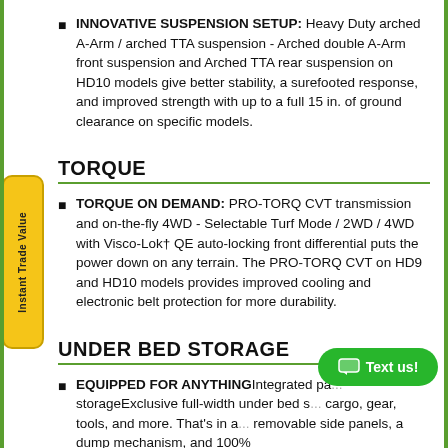INNOVATIVE SUSPENSION SETUP: Heavy Duty arched A-Arm / arched TTA suspension - Arched double A-Arm front suspension and Arched TTA rear suspension on HD10 models give better stability, a surefooted response, and improved strength with up to a full 15 in. of ground clearance on specific models.
TORQUE
TORQUE ON DEMAND: PRO-TORQ CVT transmission and on-the-fly 4WD - Selectable Turf Mode / 2WD / 4WD with Visco-Lok† QE auto-locking front differential puts the power down on any terrain. The PRO-TORQ CVT on HD9 and HD10 models provides improved cooling and electronic belt protection for more durability.
UNDER BED STORAGE
EQUIPPED FOR ANYTHINGIntegrated pa... storageExclusive full-width under bed s... cargo, gear, tools, and more. That's in a... removable side panels, a dump mechanism, and 100%